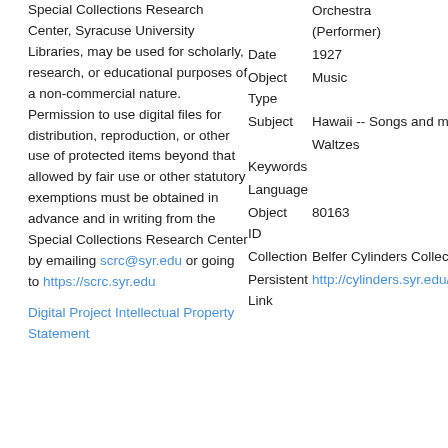Special Collections Research Center, Syracuse University Libraries, may be used for scholarly, research, or educational purposes of a non-commercial nature. Permission to use digital files for distribution, reproduction, or other use of protected items beyond that allowed by fair use or other statutory exemptions must be obtained in advance and in writing from the Special Collections Research Center by emailing scrc@syr.edu or going to https://scrc.syr.edu
Digital Project Intellectual Property Statement
|  | Orchestra (Performer) |
| Date | 1927 |
| Object Type | Music |
| Subject | Hawaii -- Songs and music |
|  | Waltzes |
| Keywords |  |
| Language |  |
| Object ID | 80163 |
| Collection | Belfer Cylinders Collection |
| Persistent Link | http://cylinders.syr.edu/p/belfer/belfer_cylinders.80163 |